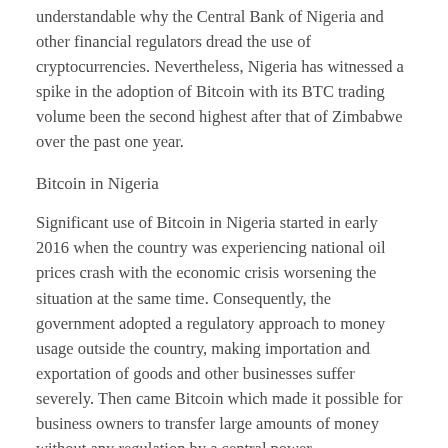understandable why the Central Bank of Nigeria and other financial regulators dread the use of cryptocurrencies. Nevertheless, Nigeria has witnessed a spike in the adoption of Bitcoin with its BTC trading volume been the second highest after that of Zimbabwe over the past one year.
Bitcoin in Nigeria
Significant use of Bitcoin in Nigeria started in early 2016 when the country was experiencing national oil prices crash with the economic crisis worsening the situation at the same time. Consequently, the government adopted a regulatory approach to money usage outside the country, making importation and exportation of goods and other businesses suffer severely. Then came Bitcoin which made it possible for business owners to transfer large amounts of money without any regulation by a central power.
The increased growth in Bitcoin in Nigeria was largely contributed by ordinary citizens looking for survival in the hard economic times. The citizens were in desperate need of an